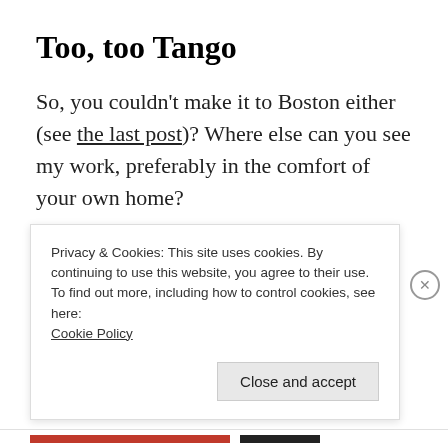Too, too Tango
So, you couldn't make it to Boston either (see the last post)? Where else can you see my work, preferably in the comfort of your own home?
Well, a story I wrote and drew appears in the
Privacy & Cookies: This site uses cookies. By continuing to use this website, you agree to their use.
To find out more, including how to control cookies, see here:
Cookie Policy
Close and accept